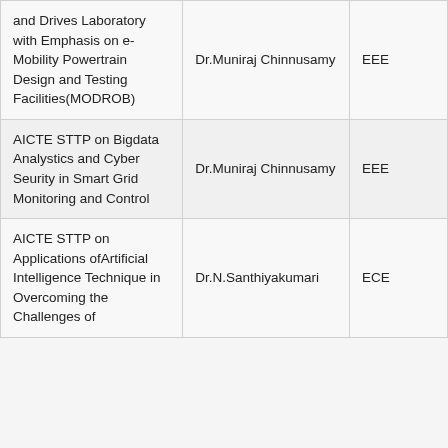| and Drives Laboratory with Emphasis on e-Mobility Powertrain Design and Testing Facilities(MODROB) | Dr.Muniraj Chinnusamy | EEE |
| AICTE STTP on Bigdata Analystics and Cyber Seurity in Smart Grid Monitoring and Control | Dr.Muniraj Chinnusamy | EEE |
| AICTE STTP on Applications ofArtificial Intelligence Technique in Overcoming the Challenges of | Dr.N.Santhiyakumari | ECE |